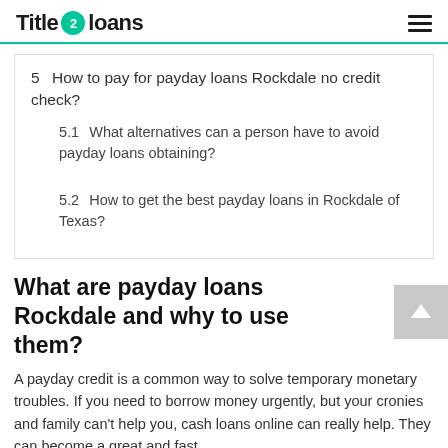Title 2 loans
5  How to pay for payday loans Rockdale no credit check?
5.1  What alternatives can a person have to avoid payday loans obtaining?
5.2  How to get the best payday loans in Rockdale of Texas?
What are payday loans Rockdale and why to use them?
A payday credit is a common way to solve temporary monetary troubles. If you need to borrow money urgently, but your cronies and family can't help you, cash loans online can really help. They can become a great and fast